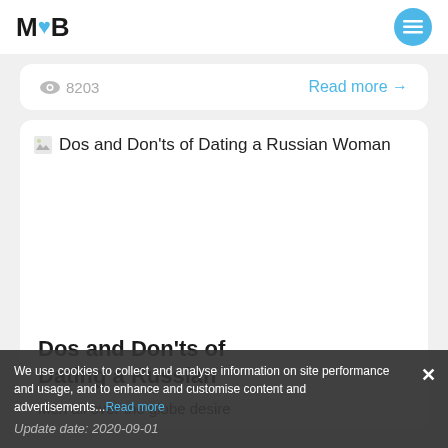M❤B
8203  Read more →
[Figure (illustration): Broken image placeholder with alt text: Dos and Don'ts of Dating a Russian Woman]
Dos and Don'ts of Dating a Russian
Men all over the globe desire
We use cookies to collect and analyse information on site performance and usage, and to enhance and customise content and advertisements...Read more
Update date: 2020-09-01